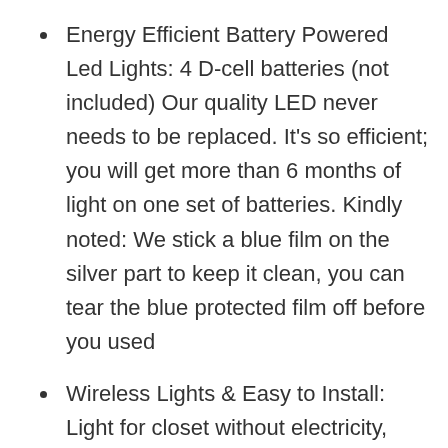Energy Efficient Battery Powered Led Lights: 4 D-cell batteries (not included) Our quality LED never needs to be replaced. It's so efficient; you will get more than 6 months of light on one set of batteries. Kindly noted: We stick a blue film on the silver part to keep it clean, you can tear the blue protected film off before you used
Wireless Lights & Easy to Install: Light for closet without electricity, quickly and easily install it in less than 5 minutes. TOOWELL LED